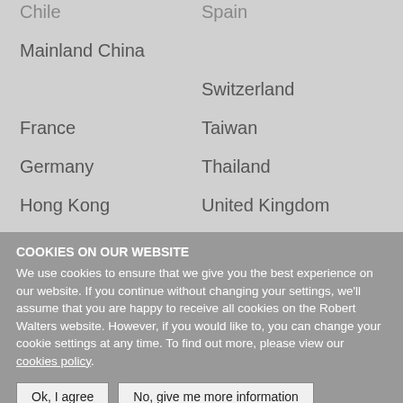Chile / Spain
Mainland China
Switzerland
France
Taiwan
Germany
Thailand
Hong Kong
United Kingdom
Indonesia
United States
Ireland
Vietnam
COOKIES ON OUR WEBSITE
We use cookies to ensure that we give you the best experience on our website. If you continue without changing your settings, we'll assume that you are happy to receive all cookies on the Robert Walters website. However, if you would like to, you can change your cookie settings at any time. To find out more, please view our cookies policy.